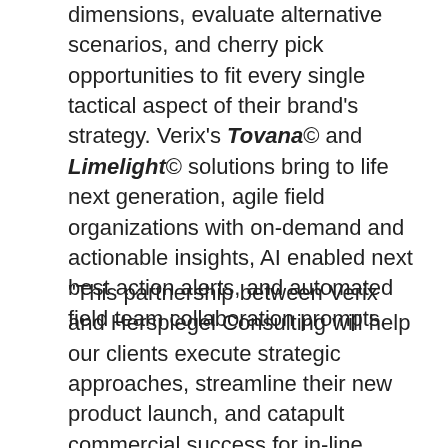dimensions, evaluate alternative scenarios, and cherry pick opportunities to fit every single tactical aspect of their brand's strategy. Verix's Tovana© and Limelight© solutions bring to life next generation, agile field organizations with on-demand and actionable insights, AI enabled next best action alerts, and automated field team collaboration prompts.
“This partnership between Verix and Herspiegel Consulting will help our clients execute strategic approaches, streamline their new product launch, and catapult commercial success for in-line brands” said Brent Herspiegel, Herspiegel Consulting President, “We’re excited to combine forces with Verix’s state of the art technology that drives